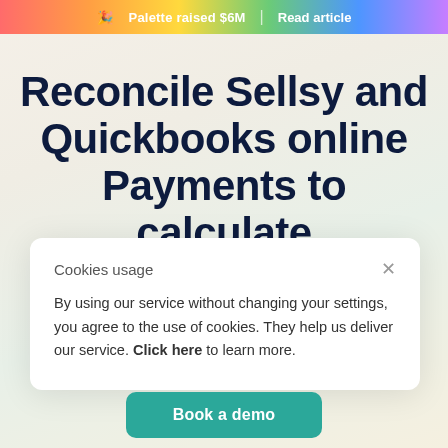🎉 Palette raised $6M | Read article
Reconcile Sellsy and Quickbooks online Payments to calculate commissions
Cookies usage
By using our service without changing your settings, you agree to the use of cookies. They help us deliver our service. Click here to learn more.
Book a demo